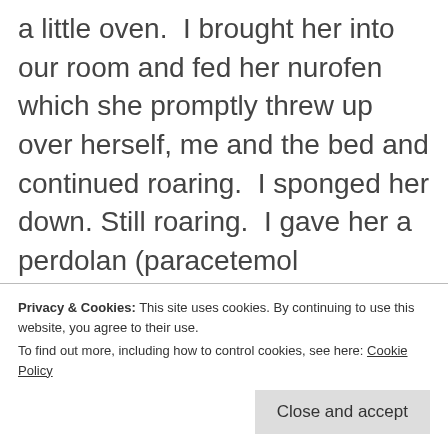a little oven.  I brought her into our room and fed her nurofen which she promptly threw up over herself, me and the bed and continued roaring.  I sponged her down. Still roaring.  I gave her a perdolan (paracetemol suppository).  Crying and shaking (her not me).  Anxious mother worries – is she having febrile convulsions?  But I held her in my arms and she started to calm down and after about half an hour fell asleep.  Put her back to bed.  Tried Mr. Waffle, phone out of range. Then
Privacy & Cookies: This site uses cookies. By continuing to use this website, you agree to their use.
To find out more, including how to control cookies, see here: Cookie Policy
Close and accept